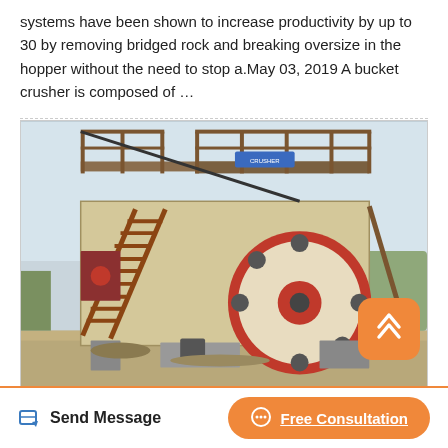systems have been shown to increase productivity by up to 30 by removing bridged rock and breaking oversize in the hopper without the need to stop a.May 03, 2019 A bucket crusher is composed of …
[Figure (photo): Outdoor photograph of a large industrial jaw crusher machine with a prominent circular red-and-cream flywheel, mounted on a structural steel frame with a staircase/ladder on the left side. A metal gantry/platform is visible at the top. A small blue sign is visible on the upper section.]
Send Message
Free Consultation